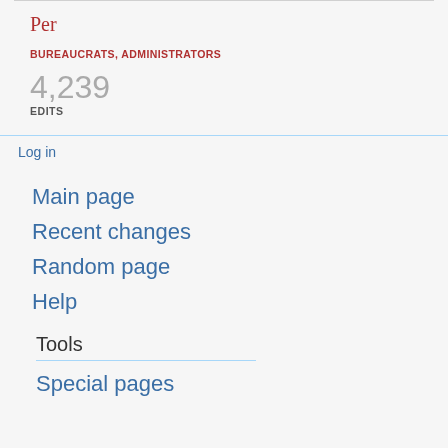Per
BUREAUCRATS, ADMINISTRATORS
4,239
EDITS
Log in
Main page
Recent changes
Random page
Help
Tools
Special pages